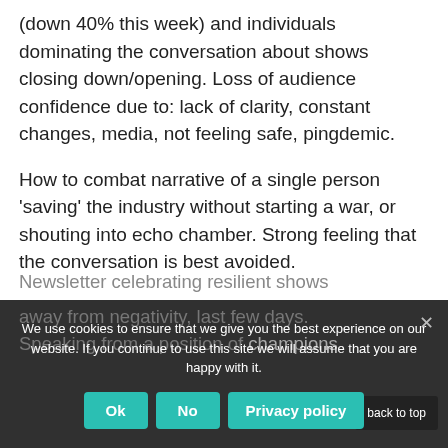(down 40% this week) and individuals dominating the conversation about shows closing down/opening. Loss of audience confidence due to: lack of clarity, constant changes, media, not feeling safe, pingdemic.
How to combat narrative of a single person 'saving' the industry without starting a war, or shouting into echo chamber. Strong feeling that the conversation is best avoided.
Newsletter celebrating resilient shows away from negativity, last few days. Speaking from a position of champions.
We use cookies to ensure that we give you the best experience on our website. If you continue to use this site we will assume that you are happy with it.